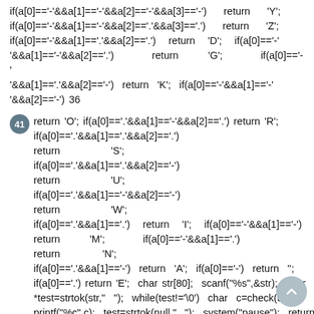if(a[0]=='-'&&a[1]=='-'&&a[2]=='-'&&a[3]=='-')   return   'Y'; if(a[0]=='-'&&a[1]=='-'&&a[2]=='.'&&a[3]=='.')   return   'Z'; if(a[0]=='-'&&a[1]=='.'&&a[2]=='.')   return   'D';   if(a[0]=='-'&&a[1]=='-'&&a[2]=='.')   return   'G';   if(a[0]=='-'&&a[1]=='.'&&a[2]=='-')   return   'K';   if(a[0]=='-'&&a[1]=='-'&&a[2]=='-') 36
41  return 'O'; if(a[0]=='.'&&a[1]=='-'&&a[2]=='.')  return  'R'; if(a[0]=='.'&&a[1]=='.'&&a[2]=='.')   return   'S'; if(a[0]=='.'&&a[1]=='.'&&a[2]=='-')   return   'U'; if(a[0]=='.'&&a[1]=='-'&&a[2]=='-')   return   'W'; if(a[0]=='.'&&a[1]=='.')   return   'I';   if(a[0]=='-'&&a[1]=='-') return   'M';   if(a[0]=='-'&&a[1]=='.')   return   'N'; if(a[0]=='.'&&a[1]=='-')  return  'A';  if(a[0]=='-')  return  ''; if(a[0]=='.')  return  'E';  char str[80];  scanf("%s",&str);  char *test=strtok(str,"  ");  while(test!='\0')  char  c=check(test); printf("%c",c);  test=strtok(null,"  ");  system("pause");  return 0; 37
42   :   11   :   8  ,   ,   :8   ,  space   :   (   )   :   :